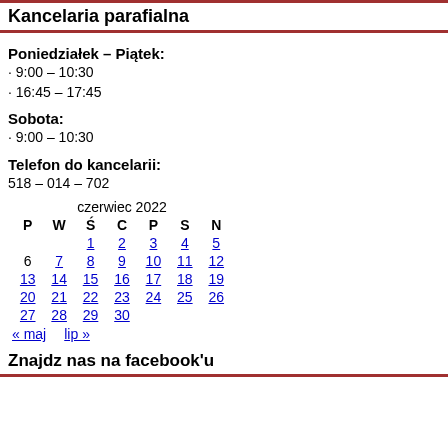Kancelaria parafialna
Poniedziałek – Piątek:
· 9:00 – 10:30
· 16:45 – 17:45
Sobota:
· 9:00 – 10:30
Telefon do kancelarii:
518 – 014 – 702
| P | W | Ś | C | P | S | N |
| --- | --- | --- | --- | --- | --- | --- |
|  |  | 1 | 2 | 3 | 4 | 5 |
| 6 | 7 | 8 | 9 | 10 | 11 | 12 |
| 13 | 14 | 15 | 16 | 17 | 18 | 19 |
| 20 | 21 | 22 | 23 | 24 | 25 | 26 |
| 27 | 28 | 29 | 30 |  |  |  |
« maj    lip »
Znajdz nas na facebook'u